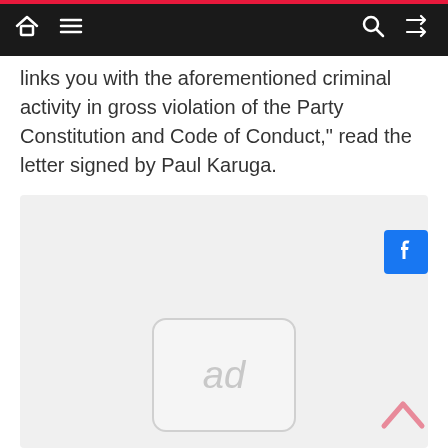Navigation bar with home, menu, search, and shuffle icons
links you with the aforementioned criminal activity in gross violation of the Party Constitution and Code of Conduct,” read the letter signed by Paul Karuga.
[Figure (other): Advertisement block with Facebook share button and ad placeholder showing 'ad' text, plus a back-to-top chevron button]